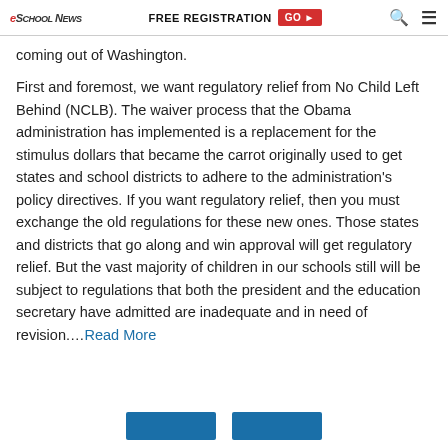eSchool News | FREE REGISTRATION GO ▶
coming out of Washington.
First and foremost, we want regulatory relief from No Child Left Behind (NCLB). The waiver process that the Obama administration has implemented is a replacement for the stimulus dollars that became the carrot originally used to get states and school districts to adhere to the administration's policy directives. If you want regulatory relief, then you must exchange the old regulations for these new ones. Those states and districts that go along and win approval will get regulatory relief. But the vast majority of children in our schools still will be subject to regulations that both the president and the education secretary have admitted are inadequate and in need of revision….Read More